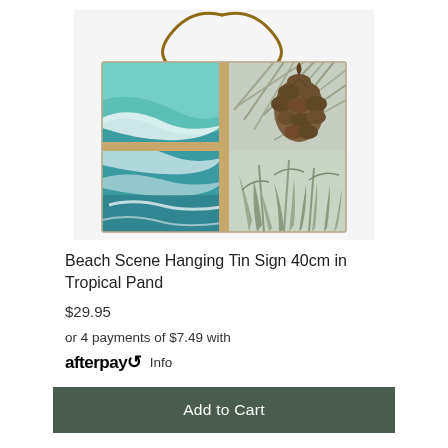[Figure (photo): A hanging tin sign with a rope hanger. The sign shows a collage of beach/tropical scenes: left half shows aerial view of ocean waves (teal and white), right half divided by a wooden frame shows top: a pine cone with tropical leaves, bottom: tropical foliage. The sign has a rustic rope handle attached at the top.]
Beach Scene Hanging Tin Sign 40cm in Tropical Pand
$29.95
or 4 payments of $7.49 with afterpay Info
Add to Cart